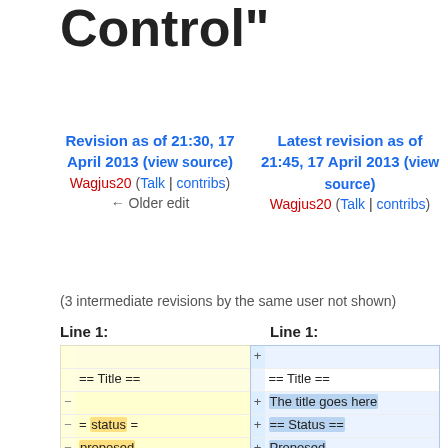Control"
Revision as of 21:30, 17 April 2013 (view source)
Wagjus20 (Talk | contribs)
← Older edit
Latest revision as of 21:45, 17 April 2013 (view source)
Wagjus20 (Talk | contribs)
(3 intermediate revisions by the same user not shown)
Line 1:
Line 1:
| − | == Title == | + | == Title == |
|  |  | + | The title goes here |
| − | = status = | + | == Status == |
| − | proposed | + | Proposed |
| − |  | + | == Description == |
| − | = description = | + | The description goes here |